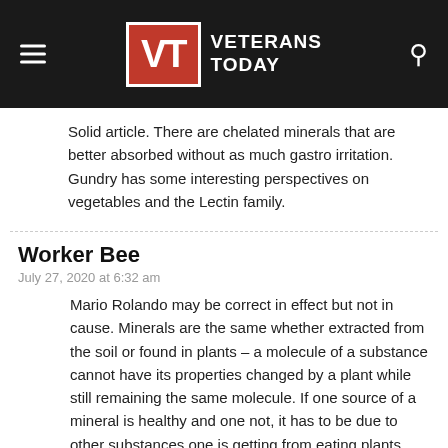Veterans Today
Solid article. There are chelated minerals that are better absorbed without as much gastro irritation. Gundry has some interesting perspectives on vegetables and the Lectin family.
Worker Bee
July 27, 2020 at 6:32 am
Mario Rolando may be correct in effect but not in cause. Minerals are the same whether extracted from the soil or found in plants – a molecule of a substance cannot have its properties changed by a plant while still remaining the same molecule. If one source of a mineral is healthy and one not, it has to be due to other substances one is getting from eating plants containing the mineral and not where the mineral comes from.
Jack Heart